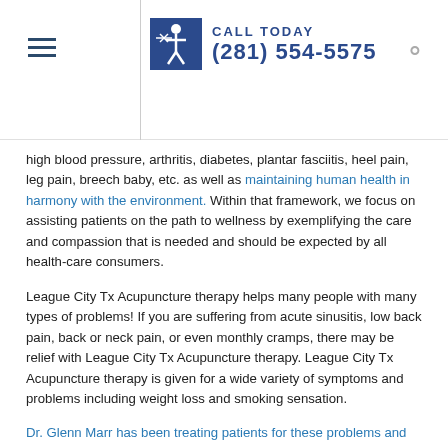Call Today (281) 554-5575
high blood pressure, arthritis, diabetes, plantar fasciitis, heel pain, leg pain, breech baby, etc. as well as maintaining human health in harmony with the environment. Within that framework, we focus on assisting patients on the path to wellness by exemplifying the care and compassion that is needed and should be expected by all health-care consumers.
League City Tx Acupuncture therapy helps many people with many types of problems! If you are suffering from acute sinusitis, low back pain, back or neck pain, or even monthly cramps, there may be relief with League City Tx Acupuncture therapy. League City Tx Acupuncture therapy is given for a wide variety of symptoms and problems including weight loss and smoking sensation.
Dr. Glenn Marr has been treating patients for these problems and many other problems for over eighteen years. He can communicate with you about your problem and then explain exactly what the